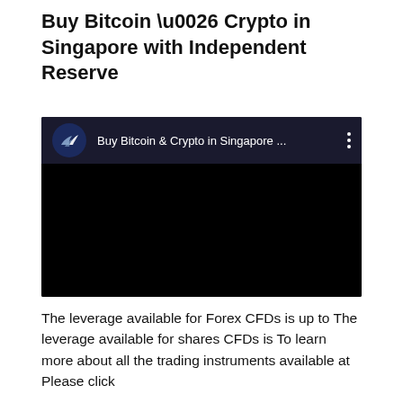Buy Bitcoin \u0026 Crypto in Singapore with Independent Reserve
[Figure (screenshot): Video embed showing YouTube-style player with dark header containing channel icon (wing/bird logo), title 'Buy Bitcoin & Crypto in Singapore ...' and a three-dot menu, with a black video area below.]
The leverage available for Forex CFDs is up to The leverage available for shares CFDs is To learn more about all the trading instruments available at Please click